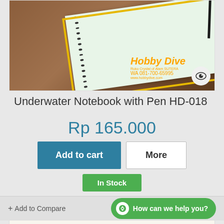[Figure (photo): Product photo of an underwater notebook with pen on a wooden surface, with Hobby Dive branding overlay showing WA: 081-700-65995 and www.hobbydive.com]
Underwater Notebook with Pen HD-018
Rp 165.000
Add to cart
More
In Stock
+ Add to Compare
How can we help you?